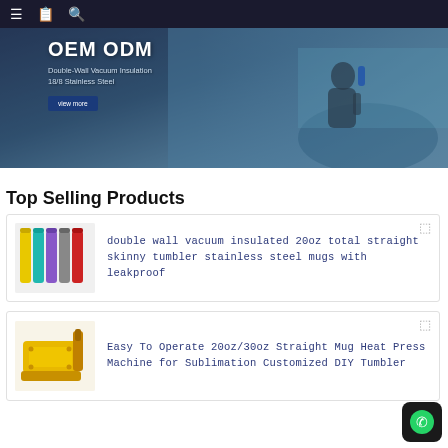Navigation bar with menu, catalog, and search icons
[Figure (photo): Hero banner showing OEM ODM product promotion with a person sitting outdoors holding a water bottle. Text overlay: OEM ODM, Double-Wall Vacuum Insulation, 18/8 Stainless Steel, with a 'view more' button.]
Top Selling Products
[Figure (photo): Product image of colorful double wall vacuum insulated skinny tumblers in multiple colors including yellow, teal, purple, grey, red]
double wall vacuum insulated 20oz total straight skinny tumbler stainless steel mugs with leakproof
[Figure (photo): Product image of yellow Easy To Operate 20oz/30oz Straight Mug Heat Press Machine for Sublimation Customized DIY Tumbler]
Easy To Operate 20oz/30oz Straight Mug Heat Press Machine for Sublimation Customized DIY Tumbler